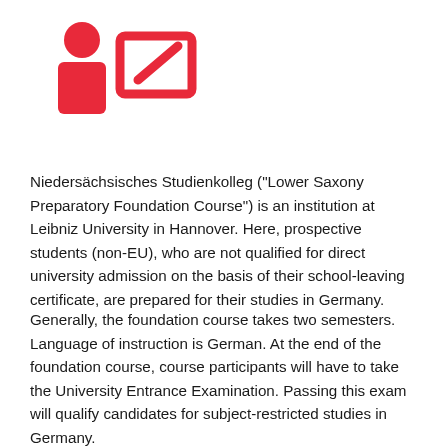[Figure (illustration): Red icon of a person sitting at a desk with a whiteboard/presentation board, representing a student or classroom setting]
Niedersächsisches Studienkolleg ("Lower Saxony Preparatory Foundation Course") is an institution at Leibniz University in Hannover. Here, prospective students (non-EU), who are not qualified for direct university admission on the basis of their school-leaving certificate, are prepared for their studies in Germany.
Generally, the foundation course takes two semesters. Language of instruction is German. At the end of the foundation course, course participants will have to take the University Entrance Examination. Passing this exam will qualify candidates for subject-restricted studies in Germany.